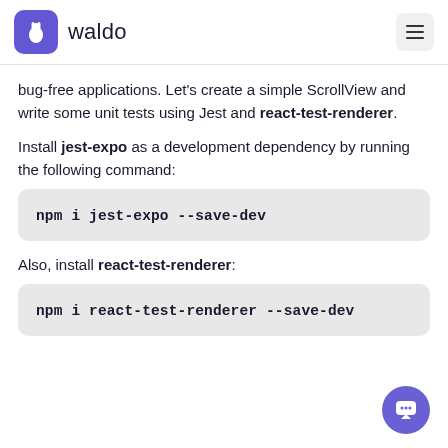waldo
bug-free applications. Let’s create a simple ScrollView and write some unit tests using Jest and react-test-renderer.
Install jest-expo as a development dependency by running the following command:
npm i jest-expo --save-dev
Also, install react-test-renderer:
npm i react-test-renderer --save-dev